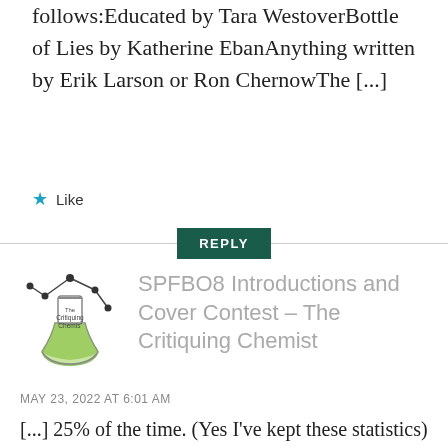follows:Educated by Tara WestoverBottle of Lies by Katherine EbanAnything written by Erik Larson or Ron ChernowThe [...]
★ Like
REPLY
[Figure (logo): The Critiquing Chemist logo — a chemistry flask illustration with molecule structure]
SPFBO8 Introductions and Cover Contest – The Critiquing Chemist
MAY 23, 2022 AT 6:01 AM
[...] 25% of the time. (Yes I've kept these statistics) Some of my favorites are as follows: Educated by Tara Westover Bottle of